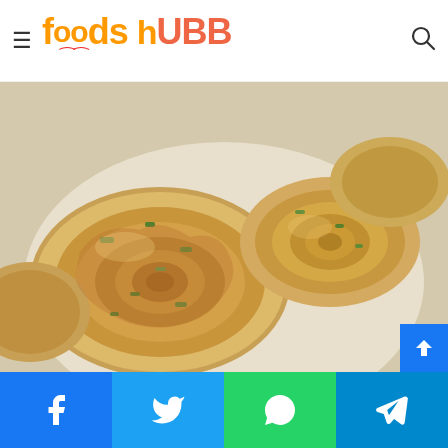[Figure (logo): FoodsHUBB logo with hamburger menu icon on left and search icon on right]
[Figure (photo): Chinese Pancake - spiral layered flatbreads with green onion filling, pan-fried golden brown, arranged on a white surface]
Chinese Pancake
[Figure (infographic): Social share bar with Facebook, Twitter, WhatsApp, and Telegram buttons]